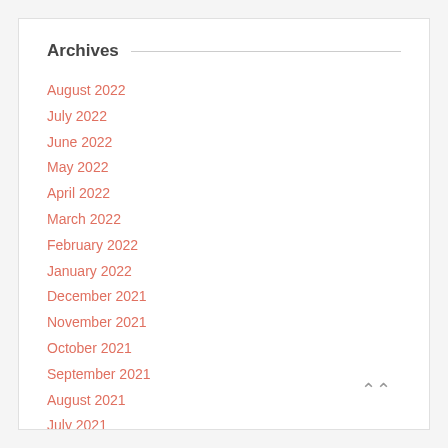Archives
August 2022
July 2022
June 2022
May 2022
April 2022
March 2022
February 2022
January 2022
December 2021
November 2021
October 2021
September 2021
August 2021
July 2021
May 2021